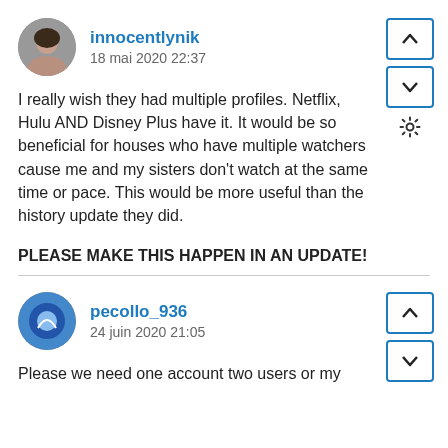innocentlynik
18 mai 2020 22:37
I really wish they had multiple profiles. Netflix, Hulu AND Disney Plus have it. It would be so beneficial for houses who have multiple watchers cause me and my sisters don't watch at the same time or pace. This would be more useful than the history update they did.
PLEASE MAKE THIS HAPPEN IN AN UPDATE!
pecollo_936
24 juin 2020 21:05
Please we need one account two users or my